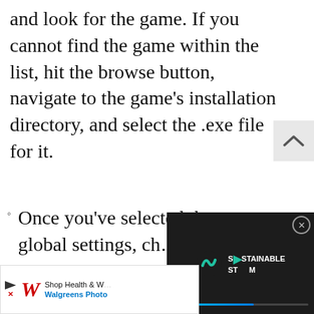and look for the game. If you cannot find the game within the list, hit the browse button, navigate to the game’s installation directory, and select the .exe file for it.
Once you’ve selected the game or global settings, ch… management moo…
[Figure (screenshot): Advertisement overlay showing Walgreens Photo ad with shop health and wellness text, and a video overlay showing Sustainable Steam branding with play button on dark background]